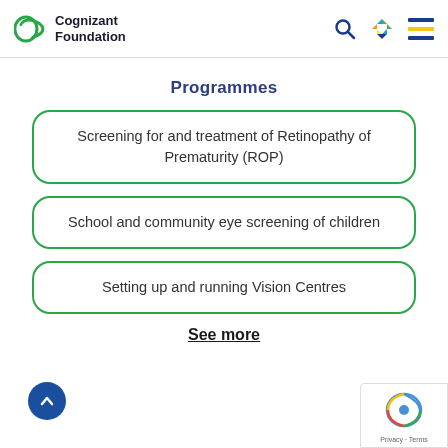Cognizant Foundation
Programmes
Screening for and treatment of Retinopathy of Prematurity (ROP)
School and community eye screening of children
Setting up and running Vision Centres
See more